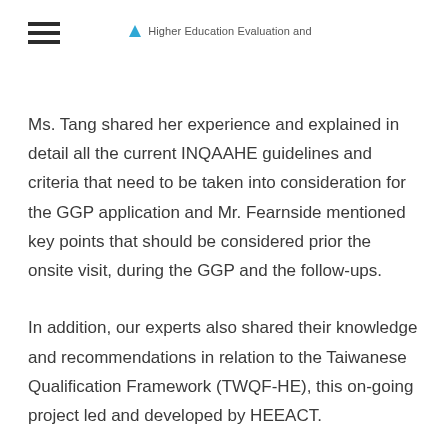Higher Education Evaluation and
Ms. Tang shared her experience and explained in detail all the current INQAAHE guidelines and criteria that need to be taken into consideration for the GGP application and Mr. Fearnside mentioned key points that should be considered prior the onsite visit, during the GGP and the follow-ups.
In addition, our experts also shared their knowledge and recommendations in relation to the Taiwanese Qualification Framework (TWQF-HE), this on-going project led and developed by HEEACT.